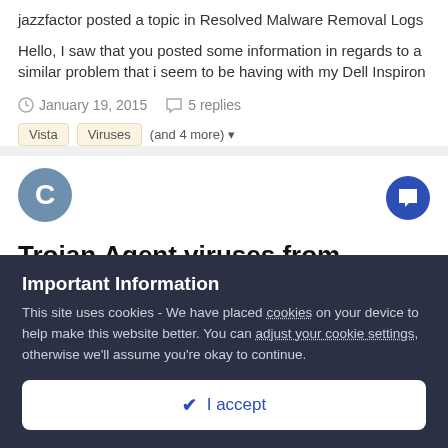jazzfactor posted a topic in Resolved Malware Removal Logs
Hello, I saw that you posted some information in regards to a similar problem that i seem to be having with my Dell Inspiron
January 19, 2015   5 replies
Vista
Viruses
(and 4 more)
Trojan.Agent viruses from svchost.exe
cyclone689 posted a topic in Malwarebytes for Windows
Important Information
This site uses cookies - We have placed cookies on your device to help make this website better. You can adjust your cookie settings, otherwise we'll assume you're okay to continue.
I accept